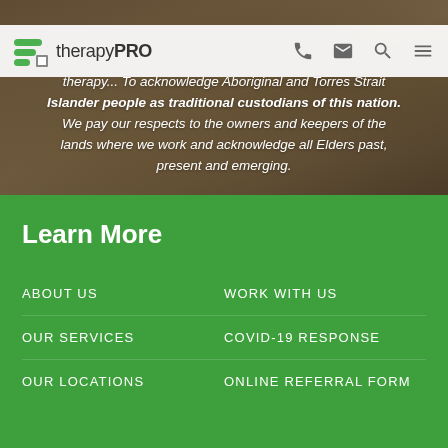[Figure (screenshot): therapyPRO website header with logo, navigation icons (phone, email, search, menu), and a hero image with overlaid text about acknowledging Aboriginal and Torres Strait Islander people as traditional custodians.]
therapy... To acknowledge Aboriginal and Torres Strait Islander people as traditional custodians of this nation. We pay our respects to the owners and keepers of the lands where we work and acknowledge all Elders past, present and emerging.
Learn More
ABOUT US
WORK WITH US
OUR SERVICES
COVID-19 RESPONSE
OUR LOCATIONS
ONLINE REFERRAL FORM